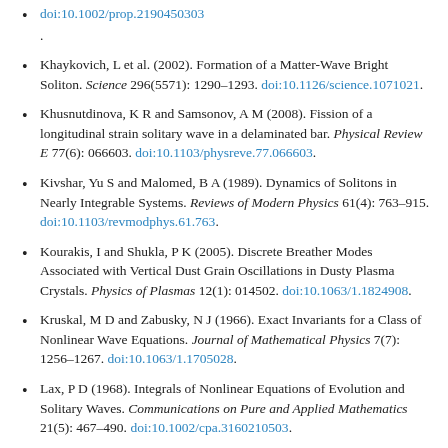doi:10.1002/prop.2190450303.
Khaykovich, L et al. (2002). Formation of a Matter-Wave Bright Soliton. Science 296(5571): 1290–1293. doi:10.1126/science.1071021.
Khusnutdinova, K R and Samsonov, A M (2008). Fission of a longitudinal strain solitary wave in a delaminated bar. Physical Review E 77(6): 066603. doi:10.1103/physreve.77.066603.
Kivshar, Yu S and Malomed, B A (1989). Dynamics of Solitons in Nearly Integrable Systems. Reviews of Modern Physics 61(4): 763–915. doi:10.1103/revmodphys.61.763.
Kourakis, I and Shukla, P K (2005). Discrete Breather Modes Associated with Vertical Dust Grain Oscillations in Dusty Plasma Crystals. Physics of Plasmas 12(1): 014502. doi:10.1063/1.1824908.
Kruskal, M D and Zabusky, N J (1966). Exact Invariants for a Class of Nonlinear Wave Equations. Journal of Mathematical Physics 7(7): 1256–1267. doi:10.1063/1.1705028.
Lax, P D (1968). Integrals of Nonlinear Equations of Evolution and Solitary Waves. Communications on Pure and Applied Mathematics 21(5): 467–490. doi:10.1002/cpa.3160210503.